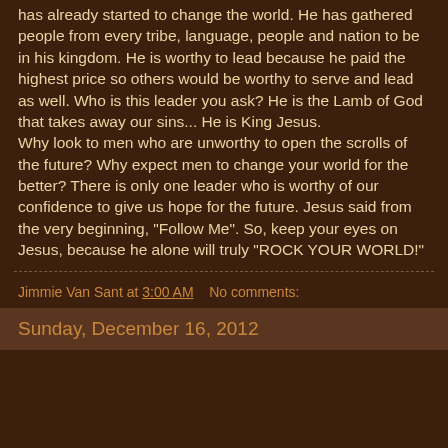has already started to change the world. He has gathered people from every tribe, language, people and nation to be in his kingdom. He is worthy to lead because he paid the highest price so others would be worthy to serve and lead as well. Who is this leader you ask? He is the Lamb of God that takes away our sins... He is King Jesus.
Why look to men who are unworthy to open the scrolls of the future? Why expect men to change your world for the better? There is only one leader who is worthy of our confidence to give us hope for the future. Jesus said from the very beginning, "Follow Me". So, keep your eyes on Jesus, because he alone will truly "ROCK YOUR WORLD!"
Jimmie Van Sant at 3:00 AM   No comments:
Sunday, December 16, 2012